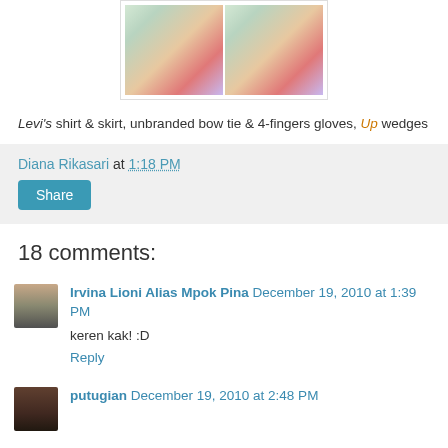[Figure (photo): Two side-by-side photos of shoes/wedges on a colorful background]
Levi's shirt & skirt, unbranded bow tie & 4-fingers gloves, Up wedges
Diana Rikasari at 1:18 PM
Share
18 comments:
Irvina Lioni Alias Mpok Pina December 19, 2010 at 1:39 PM
keren kak! :D
Reply
putugian December 19, 2010 at 2:48 PM